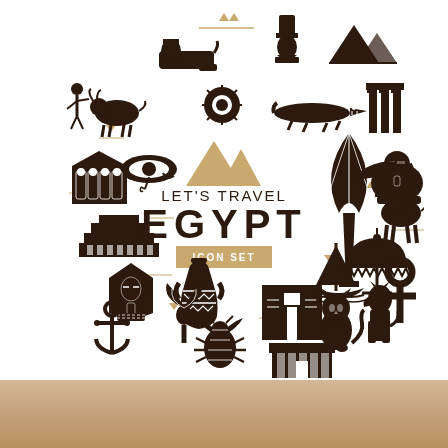[Figure (illustration): Circular arrangement of Egyptian travel icons in dark brown on white background. Center text reads 'LET'S TRAVEL' above 'EGYPT' in large bold letters with 'ICON SET' in a gold/tan box below. Icons include: Sphinx, Nefertiti bust, pyramids, bull/cow with human figure, Eye of Horus, sun disk, crocodile, temple columns, Abu Simbel temple, obelisk with pharaoh headdress, sphinx statue, ancient fortress/step pyramid, pharaoh mask/sarcophagus, decorated vase, anchor, palm tree/lotus, scarab beetle, Egyptian temple facade, cat, Anubis figure, sailboat/felucca, domed tent/canopy, camel, airplane, ankh cross, and various decorative triangles and line elements in tan/gold.]
[Figure (photo): Sandy/stone textured surface at the bottom of the image, representing sand or ancient stone ground.]